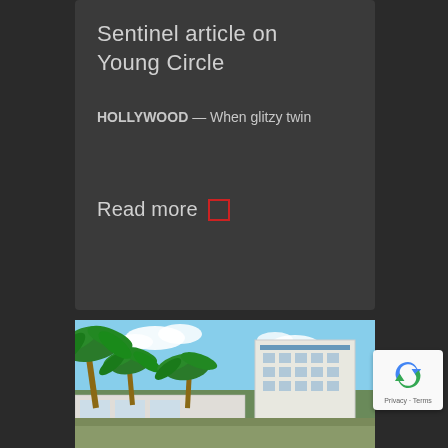Sentinel article on Young Circle
HOLLYWOOD — When glitzy twin
Read more
[Figure (photo): Outdoor photo of a modern multi-story white building with palm trees in front, blue sky with clouds in the background, storefront at street level]